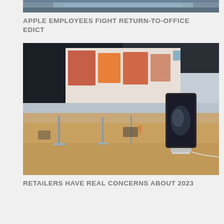[Figure (photo): Partial/cropped photo at the top of the page, showing what appears to be an office or building interior, cut off at top of viewport]
APPLE EMPLOYEES FIGHT RETURN-TO-OFFICE EDICT
[Figure (photo): Photo of an Apple retail store interior showing iPhones and other devices on wooden display tables, with a large illuminated display wall in the background]
RETAILERS HAVE REAL CONCERNS ABOUT 2023